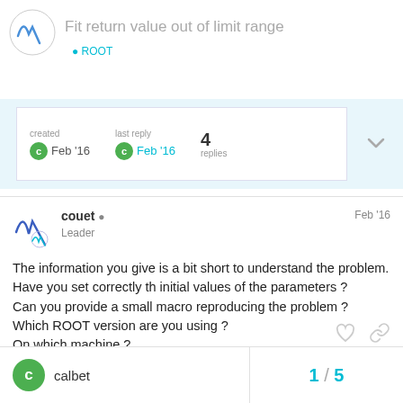Fit return value out of limit range
created Feb '16   last reply Feb '16   4 replies
couet Leader Feb '16
The information you give is a bit short to understand the problem.
Have you set correctly th initial values of the parameters ?
Can you provide a small macro reproducing the problem ?
Which ROOT version are you using ?
On which machine ?
calbet   1 / 5